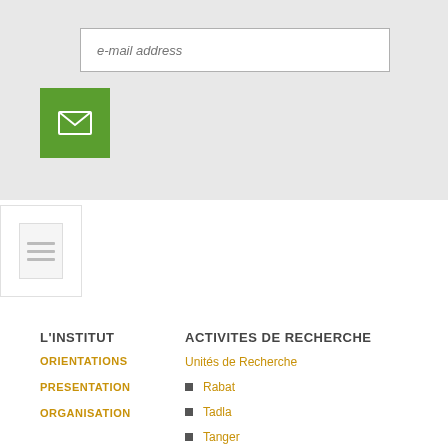[Figure (screenshot): Email input field with placeholder text 'e-mail address' and a green email submit button with envelope icon below it, on a light gray background]
[Figure (illustration): Document icon showing a page with three horizontal lines, representing a document or file]
L'INSTITUT
ACTIVITES DE RECHERCHE
ORIENTATIONS
PRESENTATION
ORGANISATION
Unités de Recherche
Rabat
Tadla
Tanger
Meknès
Kénitra
Settat
Marrakech
Agadir